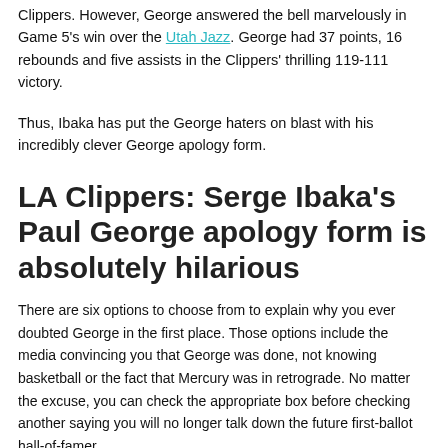Clippers. However, George answered the bell marvelously in Game 5's win over the Utah Jazz. George had 37 points, 16 rebounds and five assists in the Clippers' thrilling 119-111 victory.
Thus, Ibaka has put the George haters on blast with his incredibly clever George apology form.
LA Clippers: Serge Ibaka's Paul George apology form is absolutely hilarious
There are six options to choose from to explain why you ever doubted George in the first place. Those options include the media convincing you that George was done, not knowing basketball or the fact that Mercury was in retrograde. No matter the excuse, you can check the appropriate box before checking another saying you will no longer talk down the future first-ballot hall-of-famer.